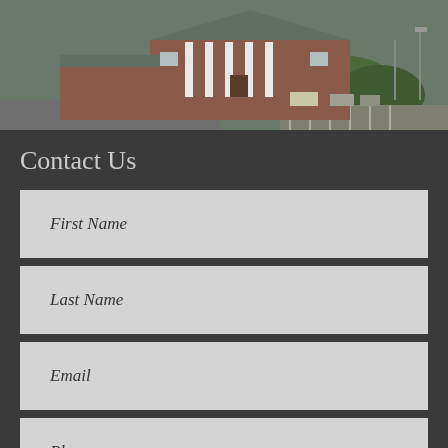[Figure (photo): Aerial/elevated photo of a brick building with white columns and a parking lot with trees in the background]
Contact Us
First Name
Last Name
Email
Phone
Type your message here...